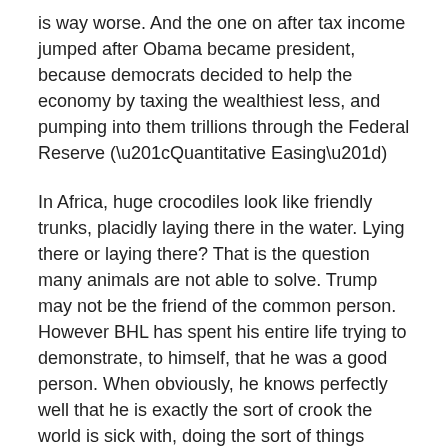is way worse. And the one on after tax income jumped after Obama became president, because democrats decided to help the economy by taxing the wealthiest less, and pumping into them trillions through the Federal Reserve (“Quantitative Easing”)
In Africa, huge crocodiles look like friendly trunks, placidly laying there in the water. Lying there or laying there? That is the question many animals are not able to solve. Trump may not be the friend of the common person. However BHL has spent his entire life trying to demonstrate, to himself, that he was a good person. When obviously, he knows perfectly well that he is exactly the sort of crook the world is sick with, doing the sort of things which should be rewarded in the future not with billions, as he was, but with long prison sentences.